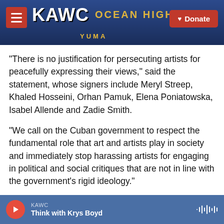KAWC — Donate
"There is no justification for persecuting artists for peacefully expressing their views," said the statement, whose signers include Meryl Streep, Khaled Hosseini, Orhan Pamuk, Elena Poniatowska, Isabel Allende and Zadie Smith.
"We call on the Cuban government to respect the fundamental role that art and artists play in society and immediately stop harassing artists for engaging in political and social critiques that are not in line with the government's rigid ideology."
Yotuel recently announced that he's producing a
KAWC — Think with Krys Boyd